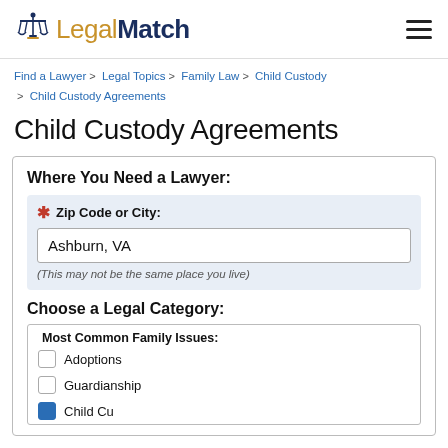LegalMatch
Find a Lawyer > Legal Topics > Family Law > Child Custody > Child Custody Agreements
Child Custody Agreements
Where You Need a Lawyer:
* Zip Code or City: Ashburn, VA (This may not be the same place you live)
Choose a Legal Category:
Most Common Family Issues:
Adoptions
Guardianship
Child Custody and Visitation